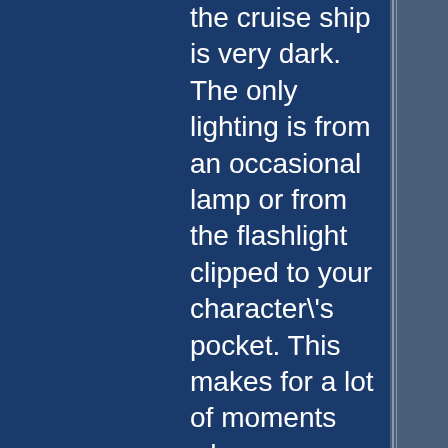the cruise ship is very dark. The only lighting is from an occasional lamp or from the flashlight clipped to your character's pocket. This makes for a lot of moments when you can hear a zombie but you can't see it. When you hear a